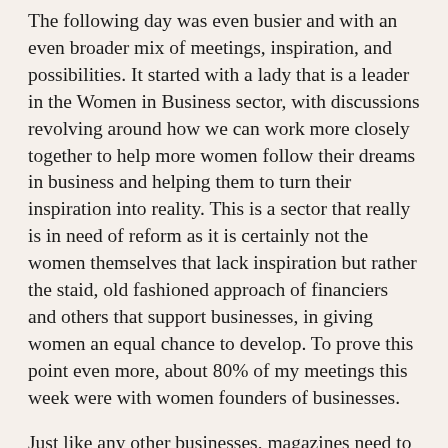The following day was even busier and with an even broader mix of meetings, inspiration, and possibilities. It started with a lady that is a leader in the Women in Business sector, with discussions revolving around how we can work more closely together to help more women follow their dreams in business and helping them to turn their inspiration into reality. This is a sector that really is in need of reform as it is certainly not the women themselves that lack inspiration but rather the staid, old fashioned approach of financiers and others that support businesses, in giving women an equal chance to develop. To prove this point even more, about 80% of my meetings this week were with women founders of businesses.
Just like any other businesses, magazines need to be of interest to their clients and to inspire them. And this of course takes interesting articles and stories. Happily, in a meeting with a magazine editor I